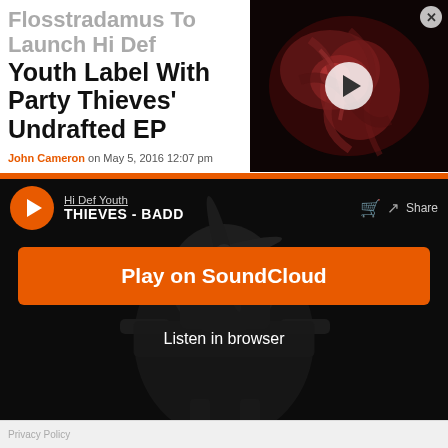Flosstradamus To Launch Hi Def Youth Label With Party Thieves' Undrafted EP
John Cameron on May 5, 2016 12:07 pm
[Figure (screenshot): Video thumbnail with play button showing abstract red/pink creature or organic imagery]
[Figure (screenshot): SoundCloud embedded player with dark background showing robot/character artwork, track 'Hi Def Youth - THIEVES - BADD', orange Play on SoundCloud button, and Listen in browser button]
Play on SoundCloud
Listen in browser
Privacy Policy